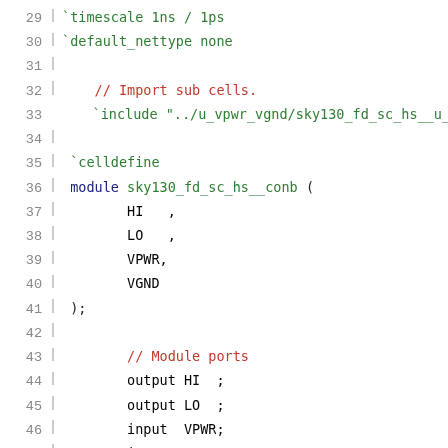29   `timescale 1ns / 1ps
30   `default_nettype none
31
32       // Import sub cells.
33       `include "../u_vpwr_vgnd/sky130_fd_sc_hs__u_vpw
34
35   `celldefine
36   module sky130_fd_sc_hs__conb (
37       HI  ,
38       LO  ,
39       VPWR,
40       VGND
41   );
42
43       // Module ports
44       output HI  ;
45       output LO  ;
46       input  VPWR;
47       input  VGND;
48
49       // Local signals
50       wire pullup0_out_HI;